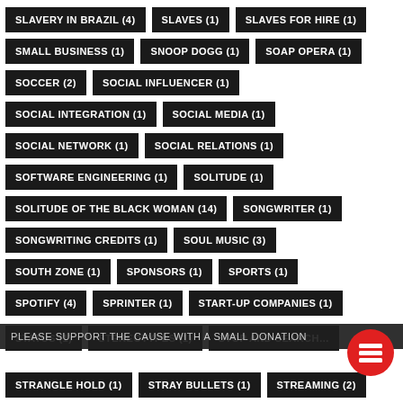SLAVERY IN BRAZIL (4)
SLAVES (1)
SLAVES FOR HIRE (1)
SMALL BUSINESS (1)
SNOOP DOGG (1)
SOAP OPERA (1)
SOCCER (2)
SOCIAL INFLUENCER (1)
SOCIAL INTEGRATION (1)
SOCIAL MEDIA (1)
SOCIAL NETWORK (1)
SOCIAL RELATIONS (1)
SOFTWARE ENGINEERING (1)
SOLITUDE (1)
SOLITUDE OF THE BLACK WOMAN (14)
SONGWRITER (1)
SONGWRITING CREDITS (1)
SOUL MUSIC (3)
SOUTH ZONE (1)
SPONSORS (1)
SPORTS (1)
SPOTIFY (4)
SPRINTER (1)
START-UP COMPANIES (1)
PLEASE SUPPORT THE CAUSE WITH A SMALL DONATION
STRANGLE HOLD (1)
STRAY BULLETS (1)
STREAMING (2)